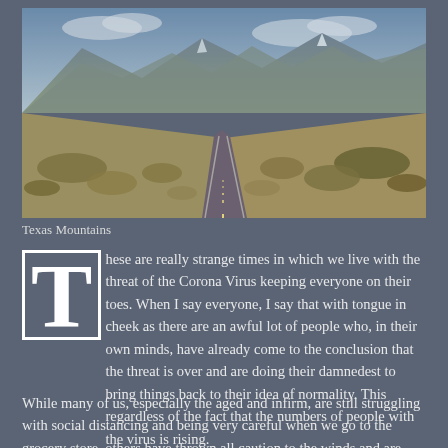[Figure (photo): A long straight road stretching toward mountains in the Texas desert landscape, with dry brush on both sides and blue-gray mountains in the background under a partly cloudy sky.]
Texas Mountains
These are really strange times in which we live with the threat of the Corona Virus keeping everyone on their toes. When I say everyone, I say that with tongue in cheek as there are an awful lot of people who, in their own minds, have already come to the conclusion that the threat is over and are doing their damnedest to bring things back to their idea of normality. This regardless of the fact that the numbers of people with the virus is rising.
While many of us, especially the aged and infirm, are still struggling with social distancing and being very careful when we go to the grocery store, others have thrown all caution to the winds and are